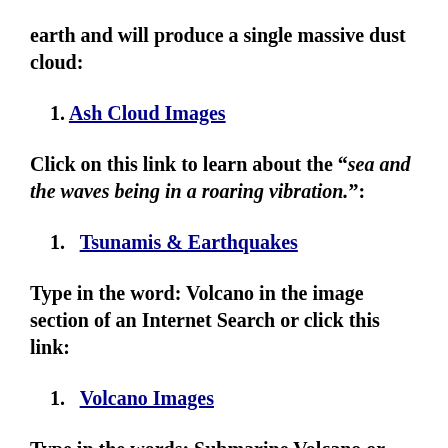earth and will produce a single massive dust cloud:
1. Ash Cloud Images
Click on this link to learn about the “sea and the waves being in a roaring vibration.”:
1. Tsunamis & Earthquakes
Type in the word: Volcano in the image section of an Internet Search or click this link:
1. Volcano Images
Type in the words: Submarine Volcano or click